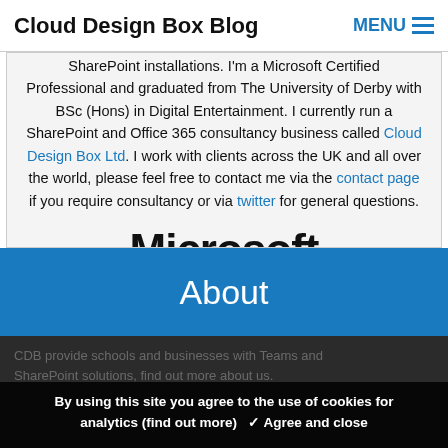Cloud Design Box Blog   MENU
SharePoint installations. I'm a Microsoft Certified Professional and graduated from The University of Derby with BSc (Hons) in Digital Entertainment. I currently run a SharePoint and Office 365 consultancy business called Cloud Design Box Ltd. I work with clients across the UK and all over the world, please feel free to contact me via the contact page if you require consultancy or via twitter for general questions.
[Figure (logo): Microsoft Certified Professional logo — large bold 'Microsoft' text, below it 'CERTIFIED' in spaced capitals, then 'Professional' in regular weight]
About
CDB provide schools and businesses with Teams and SharePoint solutions, find out more about us.
By using this site you agree to the use of cookies for analytics (find out more)   ✓ Agree and close